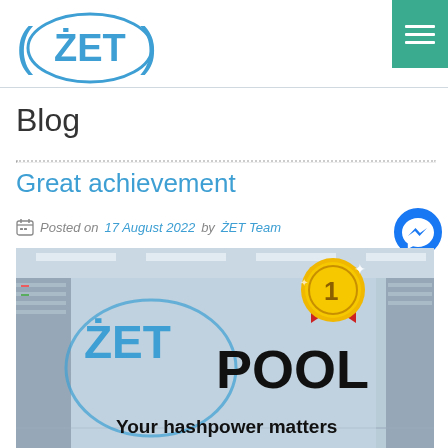ŻET (logo) — navigation with hamburger menu
Blog
Great achievement
Posted on 17 August 2022 by ŻET Team
[Figure (photo): ŻET POOL — Your hashpower matters promotional image with #1 medal badge, shown over a data center background]